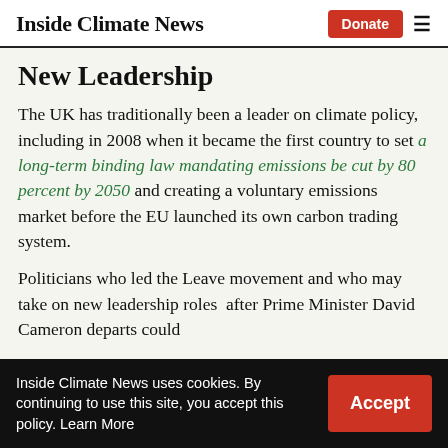Inside Climate News | Donate | ≡
New Leadership
The UK has traditionally been a leader on climate policy, including in 2008 when it became the first country to set a long-term binding law mandating emissions be cut by 80 percent by 2050 and creating a voluntary emissions market before the EU launched its own carbon trading system.
Politicians who led the Leave movement and who may take on new leadership roles  after Prime Minister David Cameron departs could
Inside Climate News uses cookies. By continuing to use this site, you accept this policy. Learn More  Accept